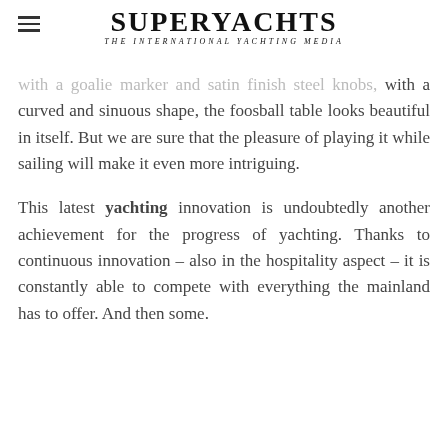SUPERYACHTS — THE INTERNATIONAL YACHTING MEDIA
with a goalie marker and satin finish steel knobs, with a curved and sinuous shape, the foosball table looks beautiful in itself. But we are sure that the pleasure of playing it while sailing will make it even more intriguing.
This latest yachting innovation is undoubtedly another achievement for the progress of yachting. Thanks to continuous innovation – also in the hospitality aspect – it is constantly able to compete with everything the mainland has to offer. And then some.